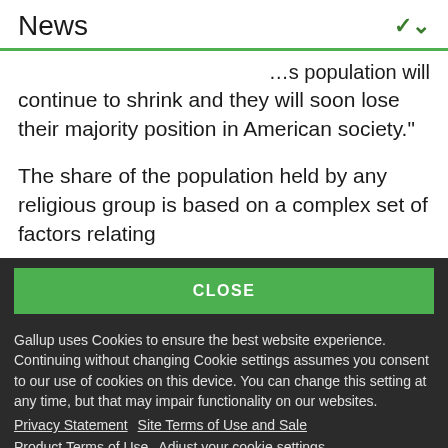News
...s population will continue to shrink and they will soon lose their majority position in American society."
The share of the population held by any religious group is based on a complex set of factors relating
CLOSE
Gallup uses Cookies to ensure the best website experience. Continuing without changing Cookie settings assumes you consent to our use of cookies on this device. You can change this setting at any time, but that may impair functionality on our websites.
Privacy Statement   Site Terms of Use and Sale
Product Terms of Use   Adjust your cookie settings.